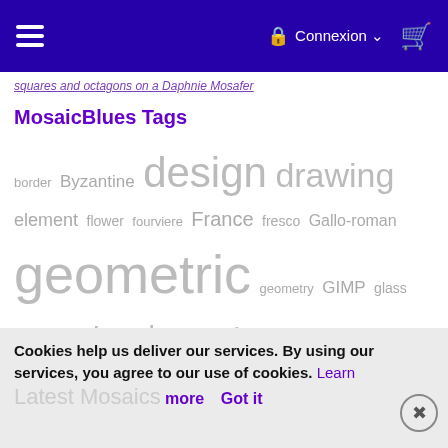≡  Connexion ∨  🛒
squares and octagons on a Daphne mosafer
MosaicBlues Tags
border Byzantine design drawing element flower fourviere France fresco Gallo-roman geometric geometry GIMP glass libya libye Lugdunum Lyon medallion minaudiere model Morocco mosaic mosaique musee museum opus pixellatum pattern Pompeii portrait romaine roman Rome rosace scarf Spain square tile travel Tunisia Turkey Villa
Cookies help us deliver our services. By using our services, you agree to our use of cookies. Learn more  Got it
Latest Mosaics